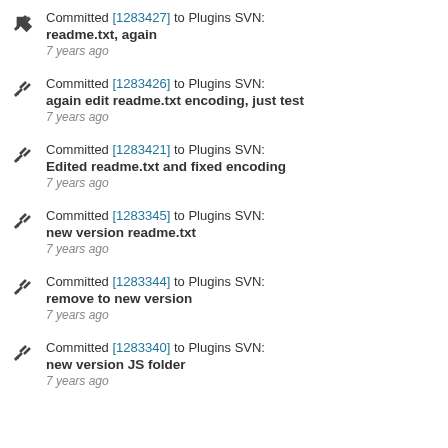Committed [1283427] to Plugins SVN: readme.txt, again — 7 years ago
Committed [1283426] to Plugins SVN: again edit readme.txt encoding, just test — 7 years ago
Committed [1283421] to Plugins SVN: Edited readme.txt and fixed encoding — 7 years ago
Committed [1283345] to Plugins SVN: new version readme.txt — 7 years ago
Committed [1283344] to Plugins SVN: remove to new version — 7 years ago
Committed [1283340] to Plugins SVN: new version JS folder — 7 years ago